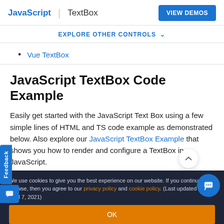JavaScript | TextBox   VIEW DEMOS
EXPLORE OTHER CONTROLS ∨
Vue TextBox
JavaScript TextBox Code Example
Easily get started with the JavaScript Text Box using a few simple lines of HTML and TS code example as demonstrated below. Also explore our JavaScript TextBox Example that shows you how to render and configure a TextBox in JavaScript.
We use cookies to give you the best experience on our website. If you continue to browse, then you agree to our privacy policy and cookie policy.  (Last updated on: April 7, 2021)
OK